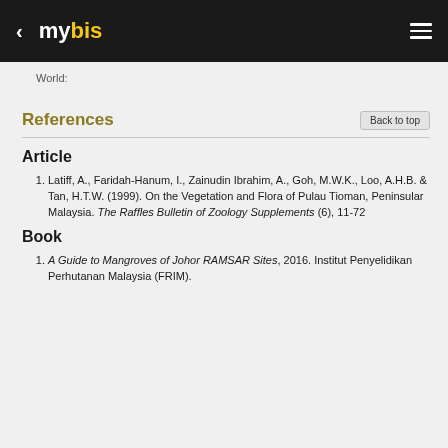< mybis ≡
World:
References
Article
Latiff, A., Faridah-Hanum, I., Zainudin Ibrahim, A., Goh, M.W.K., Loo, A.H.B. & Tan, H.T.W. (1999). On the Vegetation and Flora of Pulau Tioman, Peninsular Malaysia. The Raffles Bulletin of Zoology Supplements (6), 11-72
Book
A Guide to Mangroves of Johor RAMSAR Sites, 2016. Institut Penyelidikan Perhutanan Malaysia (FRIM).